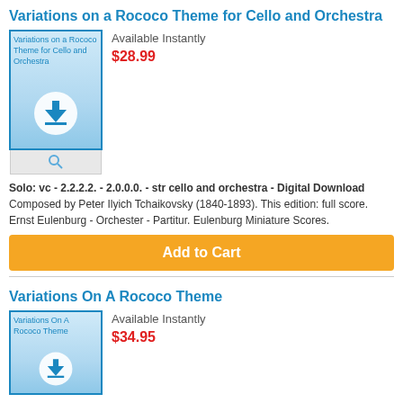Variations on a Rococo Theme for Cello and Orchestra
Available Instantly
$28.99
Solo: vc - 2.2.2.2. - 2.0.0.0. - str cello and orchestra - Digital Download Composed by Peter Ilyich Tchaikovsky (1840-1893). This edition: full score. Ernst Eulenburg - Orchester - Partitur. Eulenburg Miniature Scores.
Add to Cart
Variations On A Rococo Theme
Available Instantly
$34.95